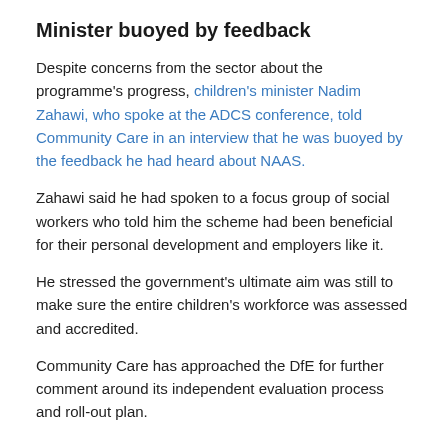Minister buoyed by feedback
Despite concerns from the sector about the programme's progress, children's minister Nadim Zahawi, who spoke at the ADCS conference, told Community Care in an interview that he was buoyed by the feedback he had heard about NAAS.
Zahawi said he had spoken to a focus group of social workers who told him the scheme had been beneficial for their personal development and employers like it.
He stressed the government's ultimate aim was still to make sure the entire children's workforce was assessed and accredited.
Community Care has approached the DfE for further comment around its independent evaluation process and roll-out plan.